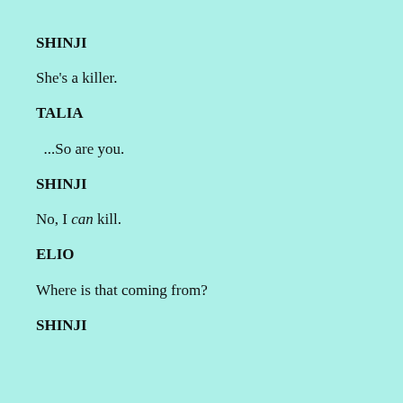SHINJI
She's a killer.
TALIA
...So are you.
SHINJI
No, I can kill.
ELIO
Where is that coming from?
SHINJI